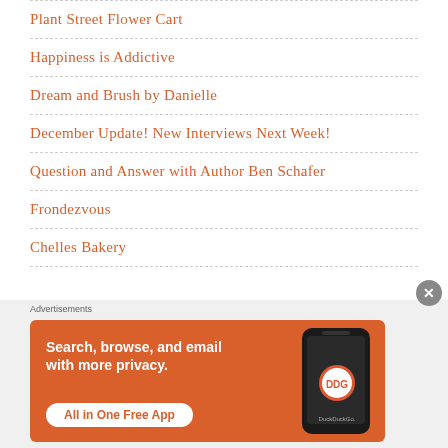Plant Street Flower Cart
Happiness is Addictive
Dream and Brush by Danielle
December Update! New Interviews Next Week!
Question and Answer with Author Ben Schafer
Frondezvous
Chelles Bakery
[Figure (other): DuckDuckGo advertisement banner: 'Search, browse, and email with more privacy. All in One Free App' with phone image showing DuckDuckGo app]